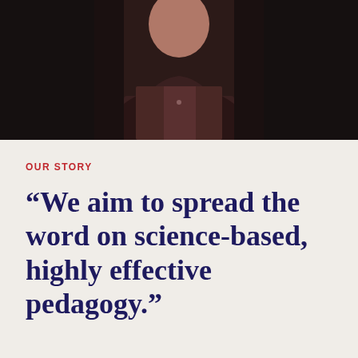[Figure (photo): Partial photo of a person wearing a dark blazer over a dark maroon shirt, cropped to show neck and torso area, dark background]
OUR STORY
“We aim to spread the word on science-based, highly effective pedagogy.”